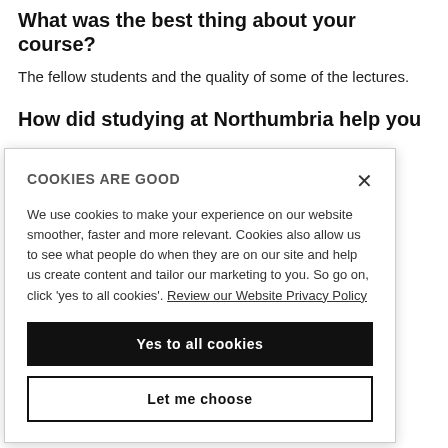What was the best thing about your course?
The fellow students and the quality of some of the lectures.
How did studying at Northumbria help you
COOKIES ARE GOOD
We use cookies to make your experience on our website smoother, faster and more relevant. Cookies also allow us to see what people do when they are on our site and help us create content and tailor our marketing to you. So go on, click 'yes to all cookies'. Review our Website Privacy Policy
Yes to all cookies
Let me choose